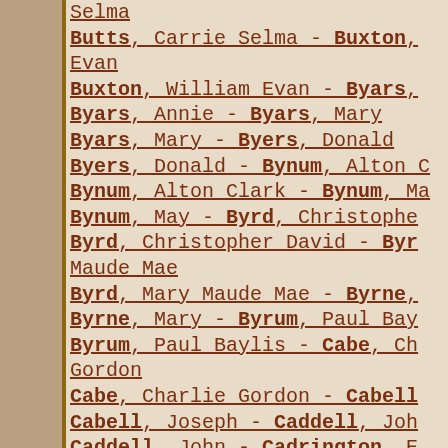Selma
Butts, Carrie Selma - Buxton, Evan
Buxton, William Evan - Byars,
Byars, Annie - Byars, Mary
Byars, Mary - Byers, Donald
Byers, Donald - Bynum, Alton C
Bynum, Alton Clark - Bynum, M
Bynum, May - Byrd, Christophe
Byrd, Christopher David - Byrd, Maude Mae
Byrd, Mary Maude Mae - Byrne,
Byrne, Mary - Byrum, Paul Bay
Byrum, Paul Baylis - Cabe, Charlie Gordon
Cabe, Charlie Gordon - Cabell
Cabell, Joseph - Caddell, Joh
Caddell, John - Cadrington, E
Cadrington, Ernest Tod - Cagl
Cagle, Alton - Cahill, Richar
Cahill, Richard Giles - Cain,